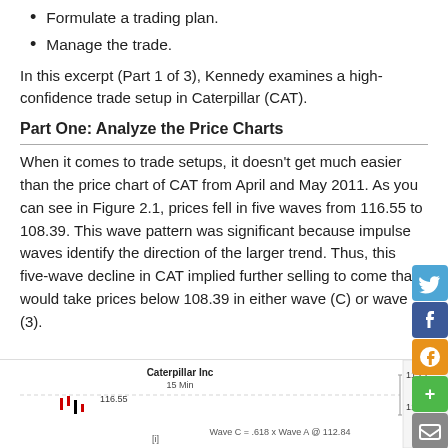Formulate a trading plan.
Manage the trade.
In this excerpt (Part 1 of 3), Kennedy examines a high-confidence trade setup in Caterpillar (CAT).
Part One: Analyze the Price Charts
When it comes to trade setups, it doesn't get much easier than the price chart of CAT from April and May 2011. As you can see in Figure 2.1, prices fell in five waves from 116.55 to 108.39. This wave pattern was significant because impulse waves identify the direction of the larger trend. Thus, this five-wave decline in CAT implied further selling to come that would take prices below 108.39 in either wave (C) or wave (3).
[Figure (other): Partial stock chart for Caterpillar Inc 15 Min, showing price levels 116.55 and annotation 'Wave C = .618 x Wave A @ 112.84', with price axis showing ~113.7 and ~114.x]